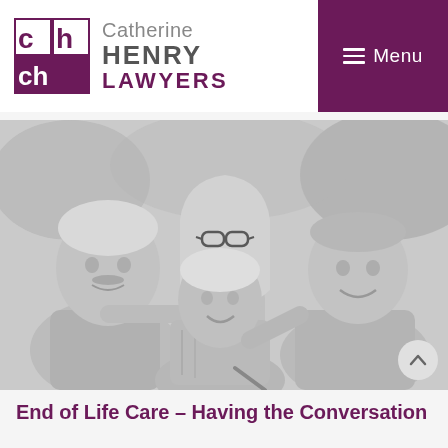Catherine HENRY LAWYERS | Menu
[Figure (photo): Black and white photograph of a multi-generational family – an elderly woman seated in the center, an older man on the left, a young woman with glasses standing behind, and a young man on the right, all smiling outdoors.]
End of Life Care – Having the Conversation